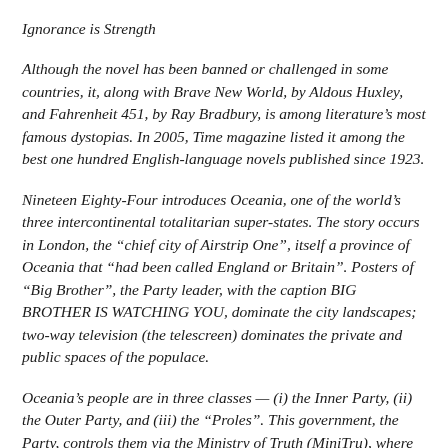Ignorance is Strength
Although the novel has been banned or challenged in some countries, it, along with Brave New World, by Aldous Huxley, and Fahrenheit 451, by Ray Bradbury, is among literature's most famous dystopias. In 2005, Time magazine listed it among the best one hundred English-language novels published since 1923.
Nineteen Eighty-Four introduces Oceania, one of the world's three intercontinental totalitarian super-states. The story occurs in London, the “chief city of Airstrip One”, itself a province of Oceania that “had been called England or Britain”. Posters of “Big Brother”, the Party leader, with the caption BIG BROTHER IS WATCHING YOU, dominate the city landscapes; two-way television (the telescreen) dominates the private and public spaces of the populace.
Oceania’s people are in three classes — (i) the Inner Party, (ii) the Outer Party, and (iii) the “Proles”. This government, the Party, controls them via the Ministry of Truth (MiniTru), where Winston